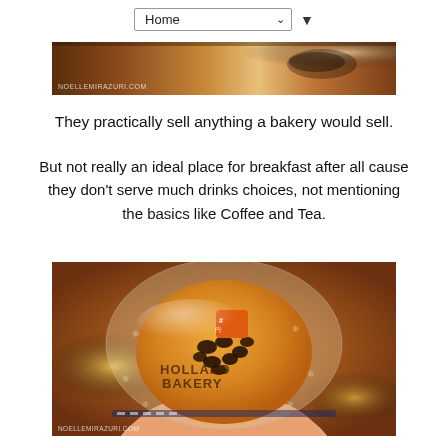Home ▼
[Figure (photo): Top cropped photo of bakery interior or food items on a table, warm brown tones with watermark text at bottom left]
They practically sell anything a bakery would sell.
But not really an ideal place for breakfast after all cause they don't serve much drinks choices, not mentioning the basics like Coffee and Tea.
[Figure (photo): Photo of a Holland Bakery branded bread roll in clear plastic packaging with snowflake pattern, held in a hand, warm bokeh background with watermark noellemirazuri.com]
Got this bread cause the sales attendant said this was